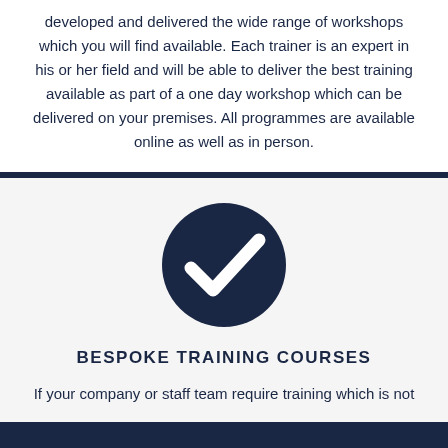developed and delivered the wide range of workshops which you will find available. Each trainer is an expert in his or her field and will be able to deliver the best training available as part of a one day workshop which can be delivered on your premises. All programmes are available online as well as in person.
[Figure (illustration): Dark navy blue circle with a white checkmark/tick icon inside]
BESPOKE TRAINING COURSES
If your company or staff team require training which is not